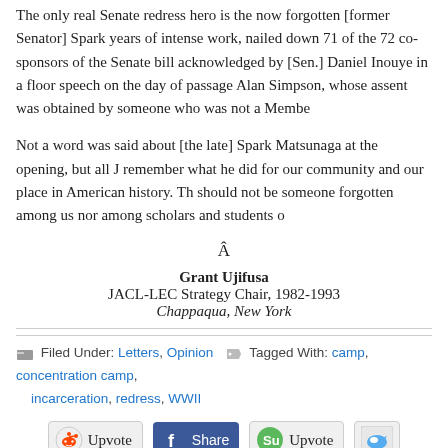The only real Senate redress hero is the now forgotten [former Senator] Spark years of intense work, nailed down 71 of the 72 co-sponsors of the Senate bill acknowledged by [Sen.] Daniel Inouye in a floor speech on the day of passage Alan Simpson, whose assent was obtained by someone who was not a Member
Not a word was said about [the late] Spark Matsunaga at the opening, but all Ja remember what he did for our community and our place in American history. Th should not be someone forgotten among us nor among scholars and students o
Â
Grant Ujifusa
JACL-LEC Strategy Chair, 1982-1993
Chappaqua, New York
Filed Under: Letters, Opinion  Tagged With: camp, concentration camp, incarceration, redress, WWII
[Figure (infographic): Social sharing buttons: Reddit Upvote, Facebook Share, StumbleUpon Upvote, Twitter button]
Speak Your Mind